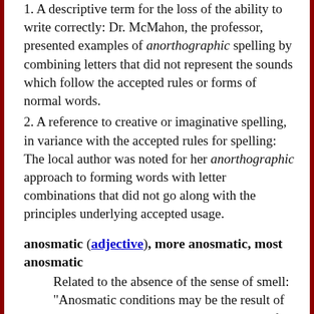1. A descriptive term for the loss of the ability to write correctly: Dr. McMahon, the professor, presented examples of anorthographic spelling by combining letters that did not represent the sounds which follow the accepted rules or forms of normal words.
2. A reference to creative or imaginative spelling, in variance with the accepted rules for spelling: The local author was noted for her anorthographic approach to forming words with letter combinations that did not go along with the principles underlying accepted usage.
anosmatic (adjective), more anosmatic, most anosmatic
Related to the absence of the sense of smell: "Anosmatic conditions may be the result of blocked nasal passages caused by years of sinus problems, or a bad attack of